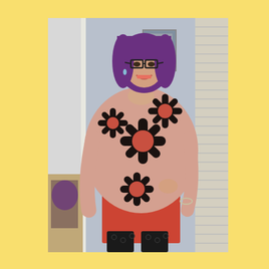[Figure (photo): A woman with short purple hair and glasses, smiling, wearing a pink oversized top with large black daisy/flower print and coral-red centers, over a coral-red mini skirt and black patterned tights. She is standing in an indoor setting near a doorway with a folding/louvered door and a framed picture on the wall behind her. The background is pale blue/grey. The image has a yellow border.]